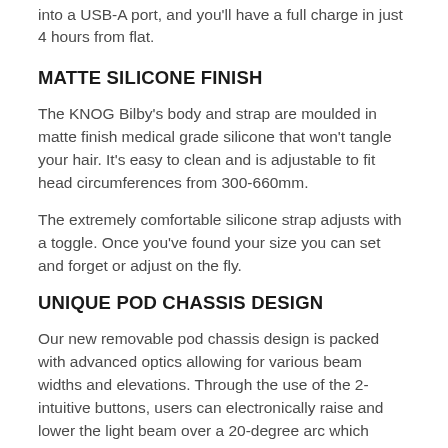into a USB-A port, and you'll have a full charge in just 4 hours from flat.
MATTE SILICONE FINISH
The KNOG Bilby's body and strap are moulded in matte finish medical grade silicone that won't tangle your hair. It's easy to clean and is adjustable to fit head circumferences from 300-660mm.
The extremely comfortable silicone strap adjusts with a toggle. Once you've found your size you can set and forget or adjust on the fly.
UNIQUE POD CHASSIS DESIGN
Our new removable pod chassis design is packed with advanced optics allowing for various beam widths and elevations. Through the use of the 2-intuitive buttons, users can electronically raise and lower the light beam over a 20-degree arc which overcomes the need for the traditional mechanical adjustment ensuring the light